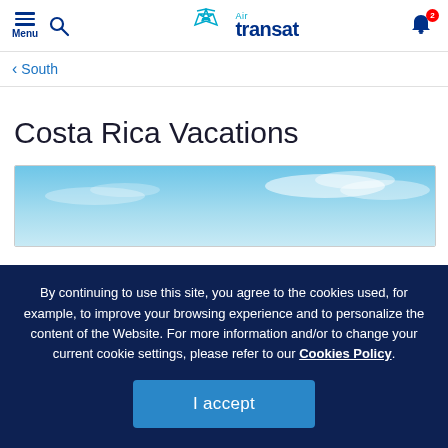Menu | Air transat | 2 notifications
< South
Costa Rica Vacations
[Figure (photo): Blue sky with light clouds, partial view of a vacation destination image]
By continuing to use this site, you agree to the cookies used, for example, to improve your browsing experience and to personalize the content of the Website. For more information and/or to change your current cookie settings, please refer to our Cookies Policy.
I accept